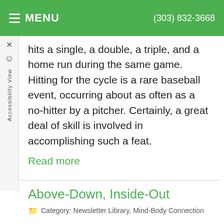MENU  (303) 832-3668
hits a single, a double, a triple, and a home run during the same game. Hitting for the cycle is a rare baseball event, occurring about as often as a no-hitter by a pitcher. Certainly, a great deal of skill is involved in accomplishing such a feat.
Read more
Above-Down, Inside-Out
Category: Newsletter Library, Mind-Body Connection
"Above-down, inside-out" is a poetic coinage by Dr. B.J. Palmer, one of the founders of the field of chiropractic. "B.J.", as he has been affectionately